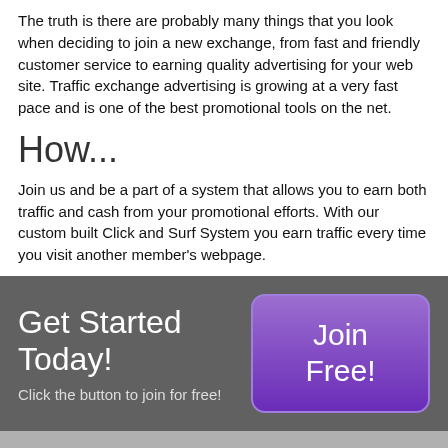The truth is there are probably many things that you look when deciding to join a new exchange, from fast and friendly customer service to earning quality advertising for your web site. Traffic exchange advertising is growing at a very fast pace and is one of the best promotional tools on the net.
How...
Join us and be a part of a system that allows you to earn both traffic and cash from your promotional efforts. With our custom built Click and Surf System you earn traffic every time you visit another member's webpage.
Get Started Today!
Click the button to join for free!
Join Free!